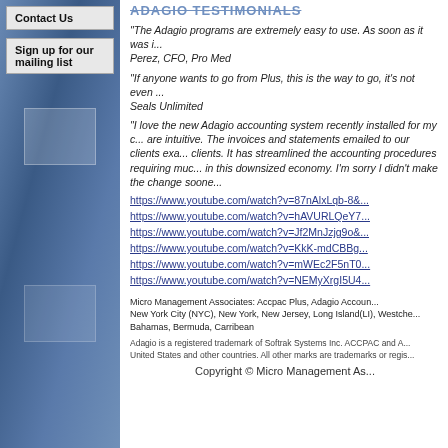Contact Us
Sign up for our mailing list
ADAGIO TESTIMONIALS
"The Adagio programs are extremely easy to use. As soon as it was i... Perez, CFO, Pro Med
"If anyone wants to go from Plus, this is the way to go, it's not even ... Seals Unlimited
"I love the new Adagio accounting system recently installed for my c... are intuitive. The invoices and statements emailed to our clients exa... clients. It has streamlined the accounting procedures requiring muc... in this downsized economy. I'm sorry I didn't make the change soone...
https://www.youtube.com/watch?v=87nAlxLqb-8&...
https://www.youtube.com/watch?v=hAVURLQeY7...
https://www.youtube.com/watch?v=Jf2MnJzjg9o&...
https://www.youtube.com/watch?v=KkK-mdCBBg...
https://www.youtube.com/watch?v=mWEc2F5nT0...
https://www.youtube.com/watch?v=NEMyXrgI5U4...
Micro Management Associates: Accpac Plus, Adagio Accoun... New York City (NYC), New York, New Jersey, Long Island(LI), Westche... Bahamas, Bermuda, Carribean
Adagio is a registered trademark of Softrak Systems Inc. ACCPAC and A... United States and other countries. All other marks are trademarks or regis...
Copyright © Micro Management As...